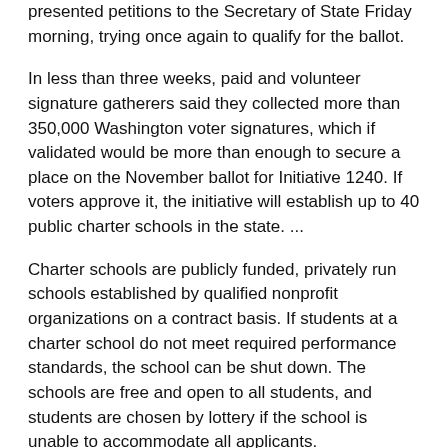presented petitions to the Secretary of State Friday morning, trying once again to qualify for the ballot.
In less than three weeks, paid and volunteer signature gatherers said they collected more than 350,000 Washington voter signatures, which if validated would be more than enough to secure a place on the November ballot for Initiative 1240. If voters approve it, the initiative will establish up to 40 public charter schools in the state. ...
Charter schools are publicly funded, privately run schools established by qualified nonprofit organizations on a contract basis. If students at a charter school do not meet required performance standards, the school can be shut down. The schools are free and open to all students, and students are chosen by lottery if the school is unable to accommodate all applicants.
Rep. Eric Pettigrew, D-Seattle, is a member of the Yes on 1240 coalition. He said supporters of charter schools have used past defeats to write the best law possible, focusing on flexibility and high standards for success.